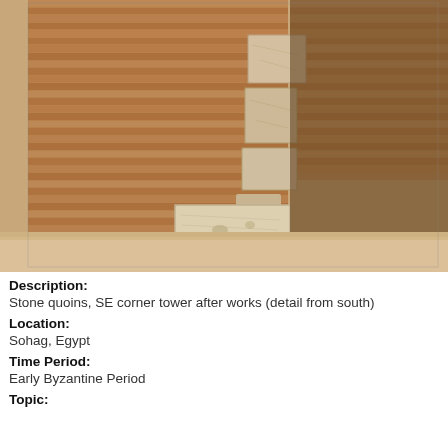[Figure (photo): Close-up photograph of stone quoins at the SE corner tower after conservation works, viewed from the south. Shows textured mud brick wall with large limestone block quoins at the corner, and a detached stone block on sandy ground in the foreground. Strong shadows indicate bright sunlight. Warm sandy and terracotta tones throughout.]
Description:
Stone quoins, SE corner tower after works (detail from south)
Location:
Sohag, Egypt
Time Period:
Early Byzantine Period
Topic: